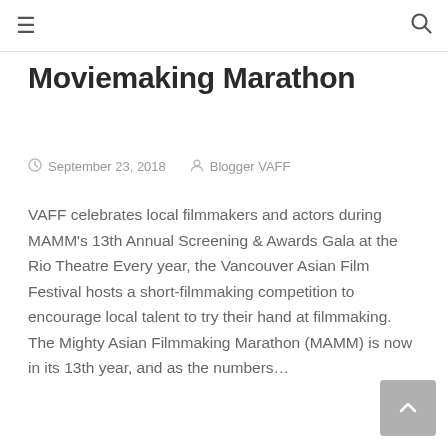≡  🔍
Moviemaking Marathon
September 23, 2018   Blogger VAFF
VAFF celebrates local filmmakers and actors during MAMM's 13th Annual Screening & Awards Gala at the Rio Theatre Every year, the Vancouver Asian Film Festival hosts a short-filmmaking competition to encourage local talent to try their hand at filmmaking. The Mighty Asian Filmmaking Marathon (MAMM) is now in its 13th year, and as the numbers…